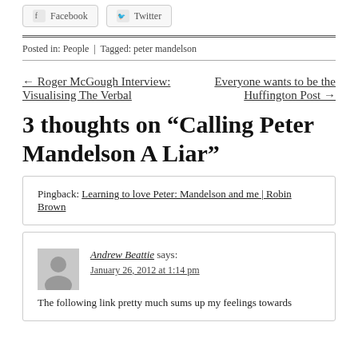Facebook | Twitter (social sharing buttons)
Posted in: People  |  Tagged: peter mandelson
← Roger McGough Interview: Visualising The Verbal
Everyone wants to be the Huffington Post →
3 thoughts on “Calling Peter Mandelson A Liar”
Pingback: Learning to love Peter: Mandelson and me | Robin Brown
Andrew Beattie says: January 26, 2012 at 1:14 pm The following link pretty much sums up my feelings towards